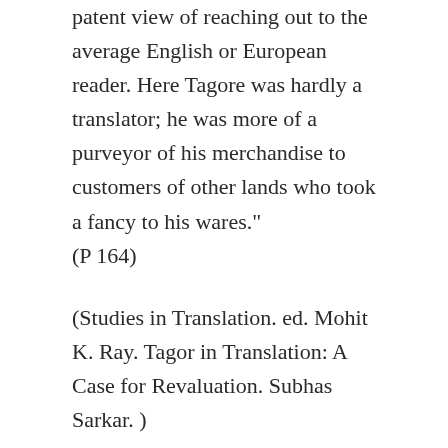patent view of reaching out to the average English or European reader. Here Tagore was hardly a translator; he was more of a purveyor of his merchandise to customers of other lands who took a fancy to his wares." (P 164)
(Studies in Translation. ed. Mohit K. Ray. Tagor in Translation: A Case for Revaluation. Subhas Sarkar. )
One person from the west, who really understood Rabindranath was Alex Aronson, who came to know Bengal and Rabindranath